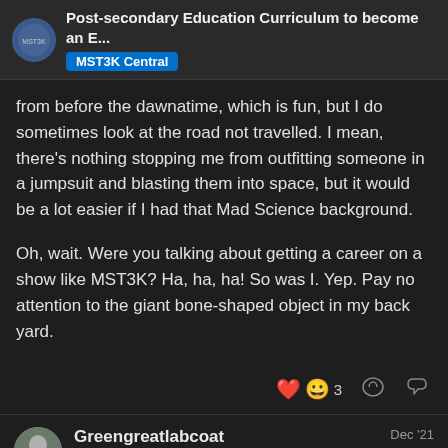Post-secondary Education Curriculum to become an E... | MST3K Central
from before the dawnatime, which is fun, but I do sometimes look at the road not travelled. I mean, there's nothing stopping me from outfitting someone in a jumpsuit and blasting them into space, but it would be a lot easier if I had that Mad Science background.
Oh, wait. Were you talking about getting a career on a show like MST3K? Ha, ha, ha! So was I. Yep. Pay no attention to the giant bone-shaped object in my back yard.
❤️ 😀 3
Greengreatlabcoat  Dec '21
Can't we get beyond Thunderdome?
Derek:
if you wanted to be a shuttled off of th...
into a life of luxury and plastic pals wh...
2 / 6